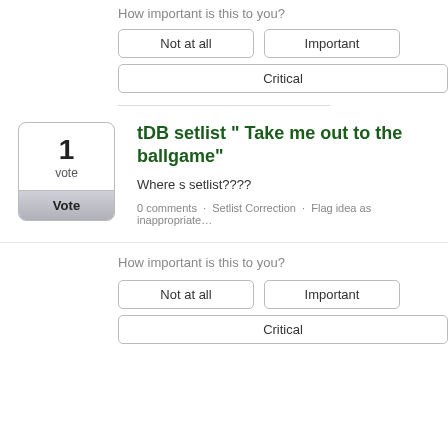How important is this to you?
Not at all
Important
Critical
tDB setlist " Take me out to the ballgame"
Where s setlist????
0 comments · Setlist Correction · Flag idea as inappropriate…
How important is this to you?
Not at all
Important
Critical